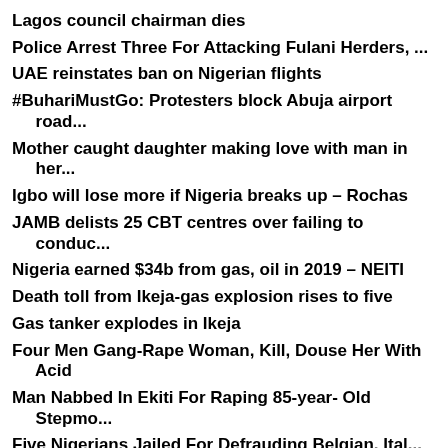Lagos council chairman dies
Police Arrest Three For Attacking Fulani Herders, ...
UAE reinstates ban on Nigerian flights
#BuhariMustGo: Protesters block Abuja airport road...
Mother caught daughter making love with man in her...
Igbo will lose more if Nigeria breaks up – Rochas
JAMB delists 25 CBT centres over failing to conduc...
Nigeria earned $34b from gas, oil in 2019 – NEITI
Death toll from Ikeja-gas explosion rises to five
Gas tanker explodes in Ikeja
Four Men Gang-Rape Woman, Kill, Douse Her With Acid
Man Nabbed In Ekiti For Raping 85-year- Old Stepmo...
Five Nigerians Jailed For Defrauding Belgian, Ital...
Zambia's first president Kaunda dies at age 97